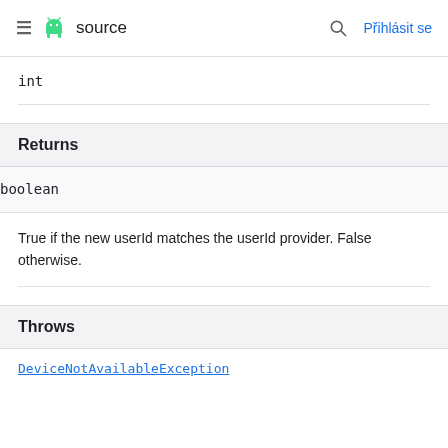≡ 🤖 source   🔍  Přihlásit se
int
Returns
boolean
True if the new userId matches the userId provider. False otherwise.
Throws
DeviceNotAvailableException